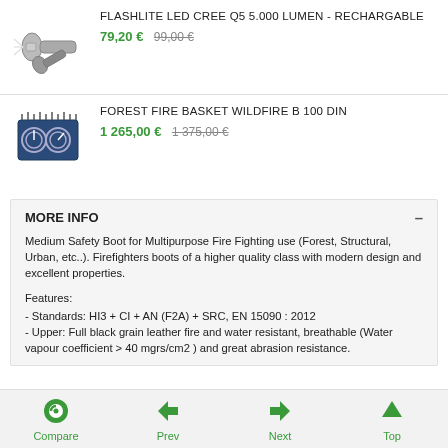[Figure (photo): Flashlight/torch product image]
FLASHLITE LED CREE Q5 5.000 LUMEN - RECHARGABLE
79,20 € 99,00 €
[Figure (photo): Forest fire basket wildfire product image]
FOREST FIRE BASKET WILDFIRE B 100 DIN
1 265,00 € 1 375,00 €
MORE INFO
Medium Safety Boot for Multipurpose Fire Fighting use (Forest, Structural, Urban, etc..). Firefighters boots of a higher quality class with modern design and excellent properties.
Features:
- Standards: HI3 + CI + AN (F2A) + SRC, EN 15090 : 2012
- Upper: Full black grain leather fire and water resistant, breathable (Water vapour coefficient > 40 mgrs/cm2 ) and great abrasion resistance.
Compare  Prev  Next  Top